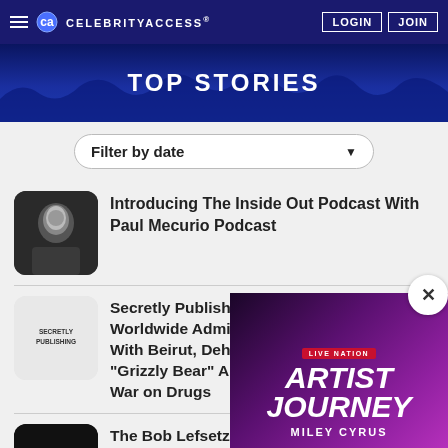CelebrityAccess — LOGIN | JOIN
TOP STORIES
Filter by date
Introducing The Inside Out Podcast With Paul Mecurio Podcast
Secretly Publishing Signs Worldwide Admin Deals With Beirut, Dehd, "Grizzly Bear" And The War on Drugs
The Bob Lefsetz Po...
[Figure (screenshot): Live Nation Artist Journey popup featuring Miley Cyrus]